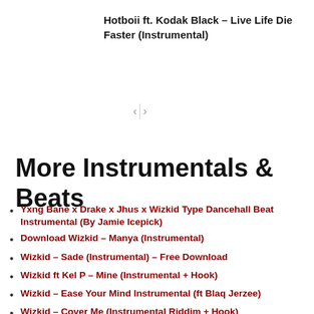Hotboii ft. Kodak Black – Live Life Die Faster (Instrumental)
More Instrumentals & Beats
Yxng Bane x Drake x Jhus x Wizkid Type Dancehall Beat Instrumental (By Jamie Icepick)
Download Wizkid – Manya (Instrumental)
Wizkid – Sade (Instrumental) – Free Download
Wizkid ft Kel P – Mine (Instrumental + Hook)
Wizkid – Ease Your Mind Instrumental (ft Blaq Jerzee)
Wizkid – Cover Me (Instrumental Riddim + Hook)
Wizkid ft TY Dolla Sign – Ride It (Instrumental)
Wizkid – Master Groove (Instrumetal Download) By